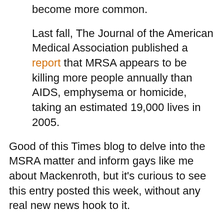become more common.
Last fall, The Journal of the American Medical Association published a report that MRSA appears to be killing more people annually than AIDS, emphysema or homicide, taking an estimated 19,000 lives in 2005.
Good of this Times blog to delve into the MSRA matter and inform gays like me about Mackenroth, but it's curious to see this entry posted this week, without any real new news hook to it.
The writer says the nasty bug was big news last fall with the death of two straight students, and…